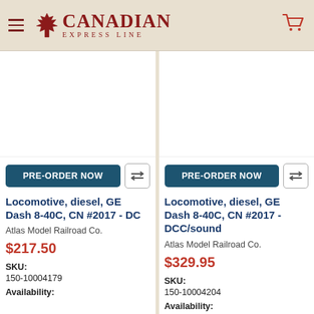Canadian Express Line
[Figure (screenshot): Product image placeholder (white box) for DC locomotive]
PRE-ORDER NOW
Locomotive, diesel, GE Dash 8-40C, CN #2017 - DC
Atlas Model Railroad Co.
$217.50
SKU: 150-10004179
Availability:
[Figure (screenshot): Product image placeholder (white box) for DCC/sound locomotive]
PRE-ORDER NOW
Locomotive, diesel, GE Dash 8-40C, CN #2017 - DCC/sound
Atlas Model Railroad Co.
$329.95
SKU: 150-10004204
Availability: